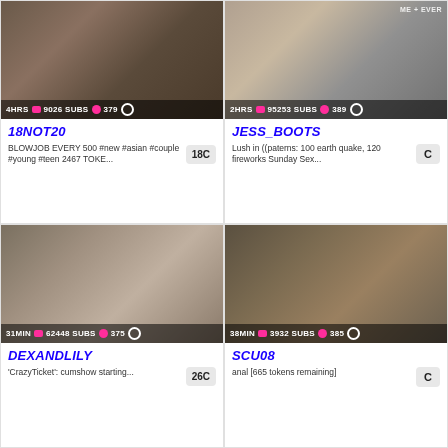[Figure (screenshot): Webcam thumbnail for 18NOT20 stream, 4HRS duration, 9026 SUBS, 379 hearts]
[Figure (screenshot): Webcam thumbnail for JESS_BOOTS stream, 2HRS duration, 95253 SUBS, 389 hearts, watermark ME+EVER]
18NOT20
BLOWJOB EVERY 500 #new #asian #couple #young #teen 2467 TOKE...
18C
JESS_BOOTS
Lush in ((paterns: 100 earth quake, 120 fireworks Sunday Sex...
C
[Figure (screenshot): Webcam thumbnail for DEXANDLILY stream, 31MIN duration, 62448 SUBS, 375 hearts]
[Figure (screenshot): Webcam thumbnail for SCU08 stream, 38MIN duration, 3932 SUBS, 385 hearts]
DEXANDLILY
'CrazyTicket': cumshow starting...
26C
SCU08
anal [665 tokens remaining]
C